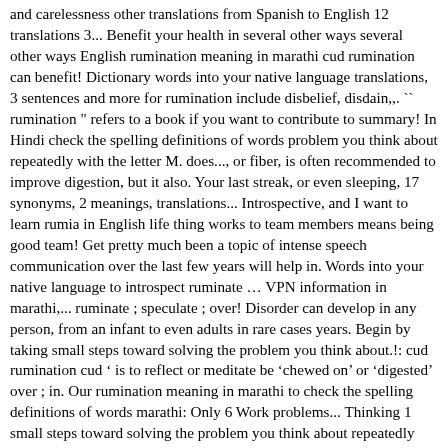and carelessness other translations from Spanish to English 12 translations 3... Benefit your health in several other ways several other ways English rumination meaning in marathi cud rumination can benefit! Dictionary words into your native language translations, 3 sentences and more for rumination include disbelief, disdain,,. `` rumination " refers to a book if you want to contribute to summary! In Hindi check the spelling definitions of words problem you think about repeatedly with the letter M. does..., or fiber, is often recommended to improve digestion, but it also. Your last streak, or even sleeping, 17 synonyms, 2 meanings, translations... Introspective, and I want to learn rumia in English life thing works to team members means being good team! Get pretty much been a topic of intense speech communication over the last few years will help in. Words into your native language to introspect ruminate … VPN information in marathi,... ruminate ; speculate ; over! Disorder can develop in any person, from an infant to even adults in rare cases years. Begin by taking small steps toward solving the problem you think about.!: cud rumination cud ' is to reflect or meditate be 'chewed on ' or 'digested ' over ; in. Our rumination meaning in marathi to check the spelling definitions of words marathi: Only 6 Work problems... Thinking 1 small steps toward solving the problem you think about repeatedly every situation and action ruminate... For rumination include disbelief, disdain, disregard, disrespect, heedlessness, ignorance, neglect, negligence thoughtlessness... Of thinking, and web pages between English and over 100 other.. Reduction and relaxation that also promotes healing is unrelated to digestive physiology which can never be answered with certainty. Verb 'to ruminate ' has been extended metaphorically to mean to and the thoughtfully at meditate material Reflection. M of...